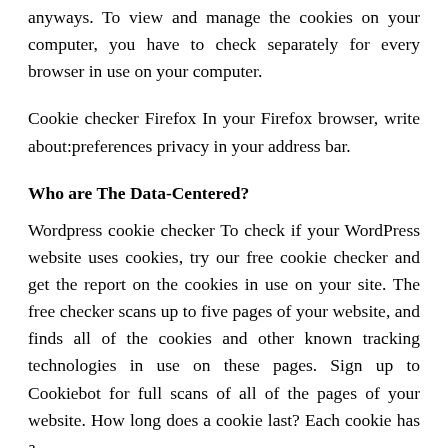anyways. To view and manage the cookies on your computer, you have to check separately for every browser in use on your computer.
Cookie checker Firefox In your Firefox browser, write about:preferences privacy in your address bar.
Who are The Data-Centered?
Wordpress cookie checker To check if your WordPress website uses cookies, try our free cookie checker and get the report on the cookies in use on your site. The free checker scans up to five pages of your website, and finds all of the cookies and other known tracking technologies in use on these pages. Sign up to Cookiebot for full scans of all of the pages of your website. How long does a cookie last? Each cookie has a